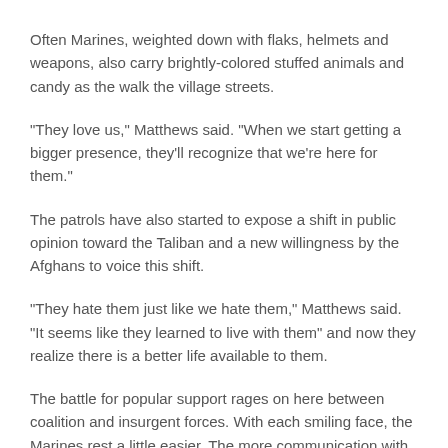Often Marines, weighted down with flaks, helmets and weapons, also carry brightly-colored stuffed animals and candy as the walk the village streets.
"They love us," Matthews said. "When we start getting a bigger presence, they'll recognize that we're here for them."
The patrols have also started to expose a shift in public opinion toward the Taliban and a new willingness by the Afghans to voice this shift.
"They hate them just like we hate them," Matthews said. "It seems like they learned to live with them" and now they realize there is a better life available to them.
The battle for popular support rages on here between coalition and insurgent forces. With each smiling face, the Marines rest a little easier. The more communication with villagers, the more information the Marines have to force Taliban fighters out of